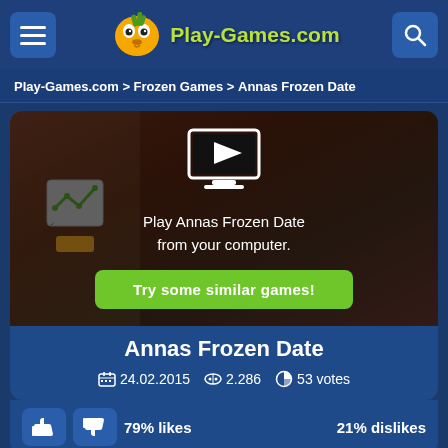Play-Games.com
Play-Games.com > Frozen Games > Annas Frozen Date
[Figure (screenshot): Game thumbnail showing Annas Frozen Date with a monitor/play icon overlay and Try some similar games button]
Annas Frozen Date
24.02.2015   2.286   53 votes
79% likes   21% dislikes